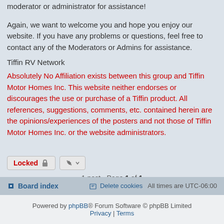If you have any questions, problems or comments, please feel free to a moderator or administrator for assistance!
Again, we want to welcome you and hope you enjoy our website. If you have any problems or questions, feel free to contact any of the Moderators or Admins for assistance.
Tiffin RV Network
Absolutely No Affiliation exists between this group and Tiffin Motor Homes Inc. This website neither endorses or discourages the use or purchase of a Tiffin product. All references, suggestions, comments, etc. contained herein are the opinions/experiences of the posters and not those of Tiffin Motor Homes Inc. or the website administrators.
Locked
1 post • Page 1 of 1
Jump to
Board index   Delete cookies   All times are UTC-06:00
Powered by phpBB® Forum Software © phpBB Limited
Privacy | Terms